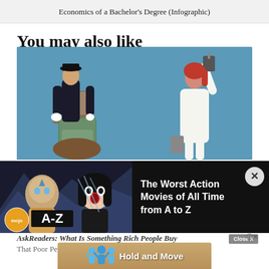Economics of a Bachelor's Degree (Infographic)
You may also like
[Figure (photo): Photo showing a man in uniform carrying stacked luggage on the left, and a woman in white outfit holding a bag on the right, against a blue background.]
[Figure (infographic): Ad overlay showing a thumbnail with animated characters (Avatar-style figure and a woman with black hair) overlaid with 'mojo A-Z' branding, and text reading 'The Worst Action Movies of All Time from A to Z' with a close button.]
AskReaders: What Is Something Rich People Buy That Poor People Know Nothing About
[Figure (infographic): Bottom advertisement banner with blue figurine icons and text 'Hold and Move' on a tan/sandy background.]